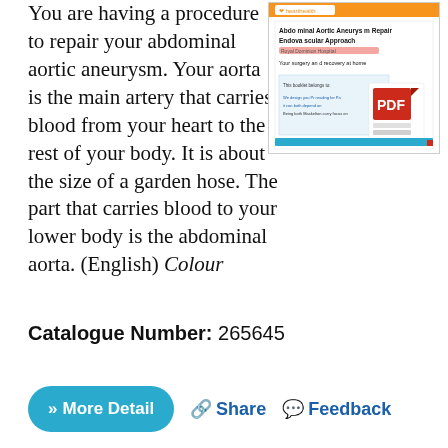You are having a procedure to repair your abdominal aortic aneurysm. Your aorta is the main artery that carries blood from your heart to the rest of your body. It is about the size of a garden hose. The part that carries blood to your lower body is the abdominal aorta. (English) Colour
[Figure (screenshot): Thumbnail image of a PDF document cover: Abdominal Aortic Aneurysm Repair Endovascular Approach, Royal Dominion Hospital, Your surgery and recovery at home. A PDF icon overlay is visible.]
Catalogue Number: 265645
» More Detail   Share   Feedback